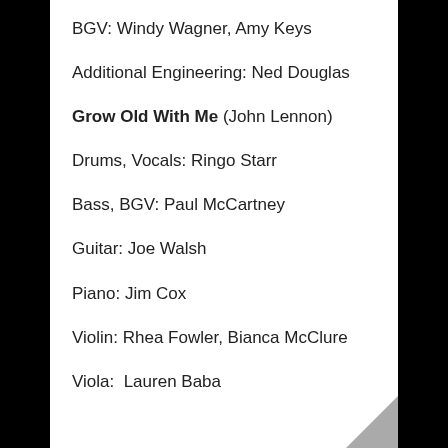BGV: Windy Wagner, Amy Keys
Additional Engineering: Ned Douglas
Grow Old With Me (John Lennon)
Drums, Vocals: Ringo Starr
Bass, BGV: Paul McCartney
Guitar: Joe Walsh
Piano: Jim Cox
Violin: Rhea Fowler, Bianca McClure
Viola:  Lauren Baba